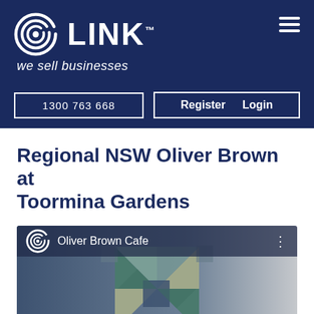[Figure (logo): LINK Business Brokers logo with spiral icon and tagline 'we sell businesses']
1300 763 668   Register   Login
Regional NSW Oliver Brown at Toormina Gardens
[Figure (screenshot): Oliver Brown Cafe video thumbnail showing geometric teal and grey diamond/square pattern logo on a blue-grey background, with Oliver Brown Cafe title and three-dot menu icon in a dark overlay bar at top]